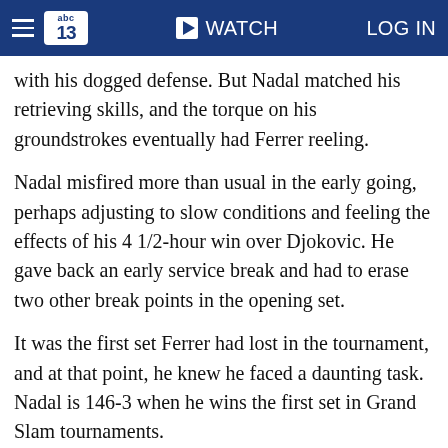abc13  WATCH  LOG IN
with his dogged defense. But Nadal matched his retrieving skills, and the torque on his groundstrokes eventually had Ferrer reeling.
Nadal misfired more than usual in the early going, perhaps adjusting to slow conditions and feeling the effects of his 4 1/2-hour win over Djokovic. He gave back an early service break and had to erase two other break points in the opening set.
It was the first set Ferrer had lost in the tournament, and at that point, he knew he faced a daunting task. Nadal is 146-3 when he wins the first set in Grand Slam tournaments.
Nadal broke again early in the second set, and then came Ferrer's best chance to reverse the course of the match. At 3-